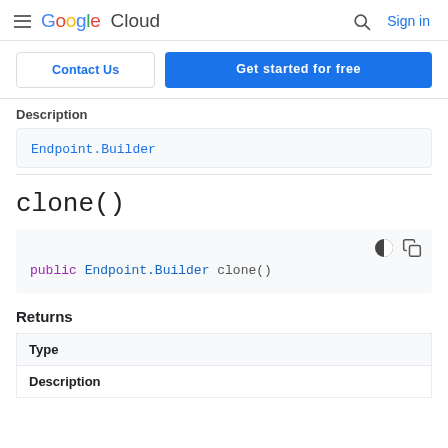Google Cloud  Sign in
Contact Us  Get started for free
Description
Endpoint.Builder
clone()
public Endpoint.Builder clone()
Returns
| Type |
| --- |
| Description |